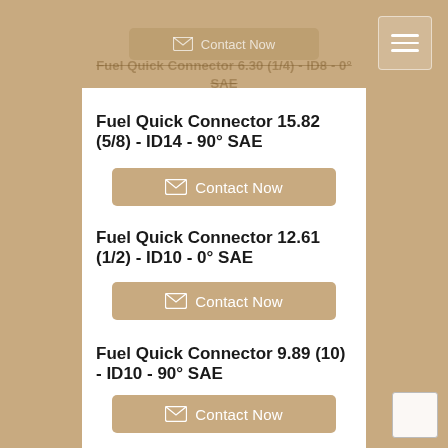Fuel Quick Connector 6.30 (1/4) - ID8 - 0° SAE
Contact Now
Fuel Quick Connector 15.82 (5/8) - ID14 - 90° SAE
Contact Now
Fuel Quick Connector 12.61 (1/2) - ID10 - 0° SAE
Contact Now
Fuel Quick Connector 9.89 (10) - ID10 - 90° SAE
Contact Now
Fuel Quick Connector 9.89 (10) - ID8 - 0° SAE